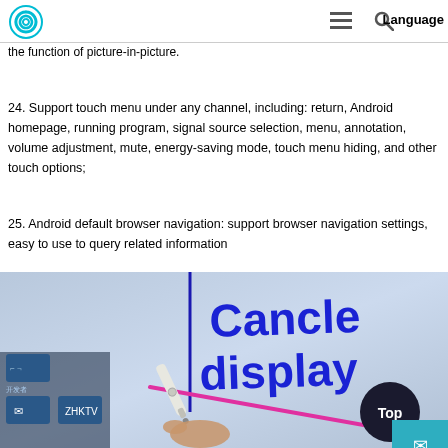Logo | menu icon | search icon | Language
23. The Android interface can display the content of the pre-Android signaling channel and support the function of picture-in-picture.
24. Support touch menu under any channel, including: return, Android homepage, running program, signal source selection, menu, annotation, volume adjustment, mute, energy-saving mode, touch menu hiding, and other touch options;
25. Android default browser navigation: support browser navigation settings, easy to use to query related information
[Figure (photo): Photo of a touchscreen display with a stylus pen writing 'Cancle display' in blue handwriting, with a pink/magenta diagonal line, and app icons visible in the lower left corner. A dark 'Top' button and a teal mail button are visible in the lower right.]